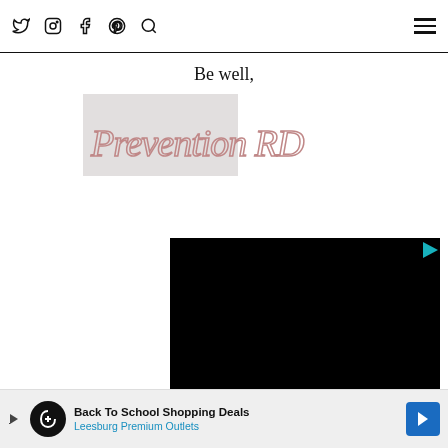Social icons (Twitter, Instagram, Facebook, Pinterest, Search) and hamburger menu
Be well,
[Figure (logo): Prevention RD logo in cursive script with rosy/pink outlined text, partially on grey background]
[Figure (screenshot): Black video player rectangle with a play button icon in upper right]
Back To School Shopping Deals — Leesburg Premium Outlets advertisement banner